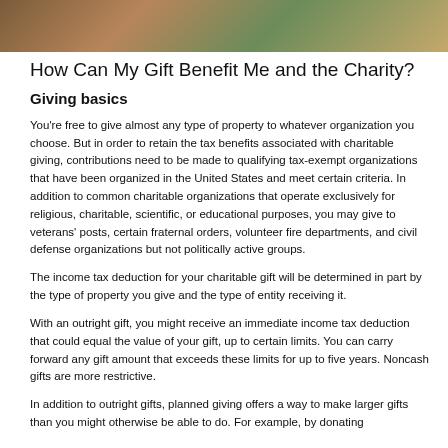[Figure (photo): Photo of people at a charitable event or donation scene, showing figures from shoulders up against a colorful background]
How Can My Gift Benefit Me and the Charity?
Giving basics
You're free to give almost any type of property to whatever organization you choose. But in order to retain the tax benefits associated with charitable giving, contributions need to be made to qualifying tax-exempt organizations that have been organized in the United States and meet certain criteria. In addition to common charitable organizations that operate exclusively for religious, charitable, scientific, or educational purposes, you may give to veterans' posts, certain fraternal orders, volunteer fire departments, and civil defense organizations but not politically active groups.
The income tax deduction for your charitable gift will be determined in part by the type of property you give and the type of entity receiving it.
With an outright gift, you might receive an immediate income tax deduction that could equal the value of your gift, up to certain limits. You can carry forward any gift amount that exceeds these limits for up to five years. Noncash gifts are more restrictive.
In addition to outright gifts, planned giving offers a way to make larger gifts than you might otherwise be able to do. For example, by donating higher...